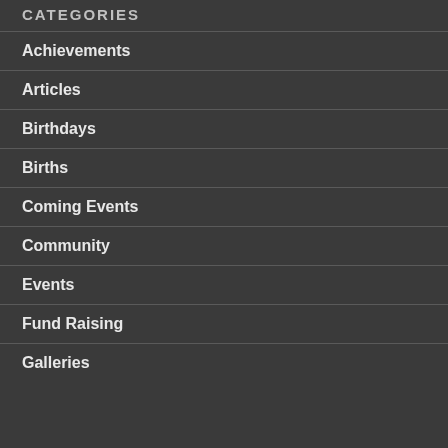CATEGORIES
Achievements
Articles
Birthdays
Births
Coming Events
Community
Events
Fund Raising
Galleries